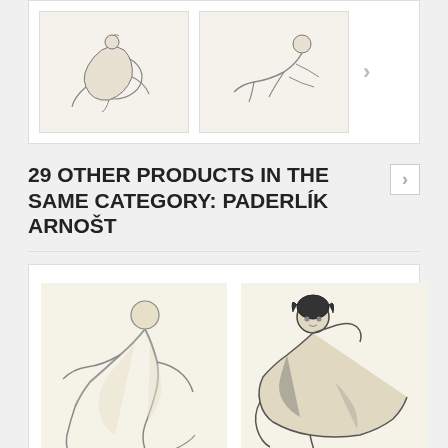[Figure (illustration): Top gallery row with two thumbnail sketches of nude figures and a right arrow navigation button]
29 OTHER PRODUCTS IN THE SAME CATEGORY: PADERLÍK ARNOŠT
[Figure (illustration): Product card: pencil sketch of kneeling nude figure (Klečící akt 1971 I)]
Klečící akt (1971) I
[Figure (illustration): Product card: ink/brush sketch of reclining nude figure with dark hair (Klečící akt 1971 III)]
Klečící akt (1971) III